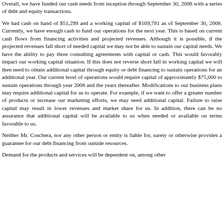Overall, we have funded our cash needs from inception through September 30, 2008 with a series of debt and equity transactions.
We had cash on hand of $51,299 and a working capital of $169,781 as of September 30, 2008. Currently, we have enough cash to fund our operations for the next year. This is based on current cash flows from financing activities and projected revenues. Although it is possible, if the projected revenues fall short of needed capital we may not be able to sustain our capital needs. We have the ability to pay three consulting agreements with capital or cash. This would favorably impact our working capital situation. If this does not reverse short fall in working capital we will then need to obtain additional capital through equity or debt financing to sustain operations for an additional year. Our current level of operations would require capital of approximately $75,000 to sustain operations through year 2008 and the years thereafter. Modifications to our business plans may require additional capital for us to operate. For example, if we want to offer a greater number of products or increase our marketing efforts, we may need additional capital. Failure to raise capital may result in lower revenues and market share for us. In addition, there can be no assurance that additional capital will be available to us when needed or available on terms favorable to us.
Neither Mr. Coschera, nor any other person or entity is liable for, surety or otherwise provides a guarantee for our debt financing from outside resources.
Demand for the products and services will be dependent on, among other